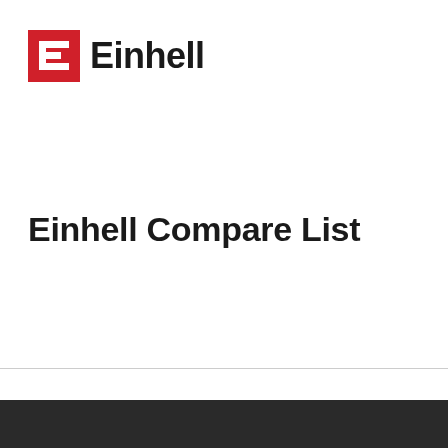[Figure (logo): Einhell logo with red square icon containing a white stylized E letter, followed by the bold black text 'Einhell']
Einhell Compare List